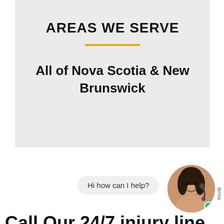AREAS WE SERVE
All of Nova Scotia & New Brunswick
Hi how can I help?
Call Our 24/7 injury line